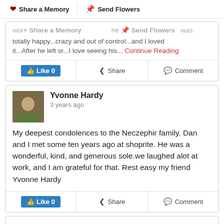Share a Memory | Send Flowers
worked south he...when he worked it...everyday was totally happy...crazy and out of control...and I loved it...After he left sr...I love seeing his... Continue Reading
Like 0 | Share | Comment
Yvonne Hardy
3 years ago
My deepest condolences to the Neczephir family. Dan and I met some ten years ago at shoprite. He was a wonderful, kind, and generous sole.we laughed alot at work, and I am grateful for that. Rest easy my friend Yvonne Hardy
Like 0 | Share | Comment
More Memories...